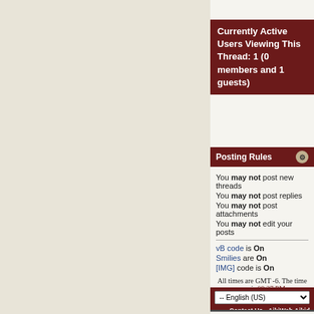Currently Active Users Viewing This Thread: 1 (0 members and 1 guests)
Posting Rules
You may not post new threads
You may not post replies
You may not post attachments
You may not edit your posts
vB code is On
Smilies are On
[IMG] code is On
HTML code is Off
All times are GMT -6. The time now is 08:37 PM.
Contact Us - AikiWeb Aikido Information - Archive - Privacy Statement - To...
vBulletin Copyright © 2000-2022 Jelsoft Enterprises Limited
Copyright 1997-2022 AikiWeb and its Authors, All Rights Reserved.
For questions and comments about this website: Send E-mail